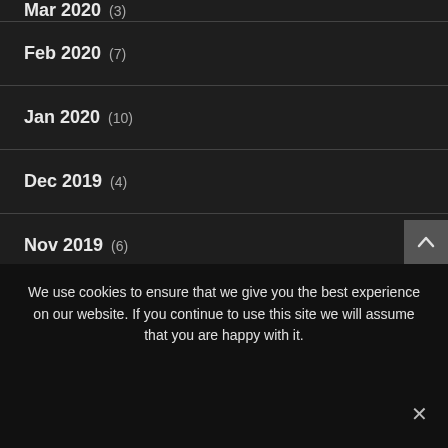Mar 2020 (3)
Feb 2020 (7)
Jan 2020 (10)
Dec 2019 (4)
Nov 2019 (6)
Oct 2019 (11)
Sep 2019 (10)
We use cookies to ensure that we give you the best experience on our website. If you continue to use this site we will assume that you are happy with it.